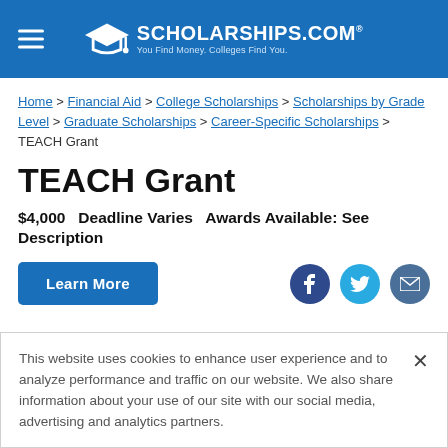SCHOLARSHIPS.COM — You Find Money. Colleges Find You.
Home > Financial Aid > College Scholarships > Scholarships by Grade Level > Graduate Scholarships > Career-Specific Scholarships > TEACH Grant
TEACH Grant
$4,000  Deadline Varies  Awards Available: See Description
Learn More
This website uses cookies to enhance user experience and to analyze performance and traffic on our website. We also share information about your use of our site with our social media, advertising and analytics partners.